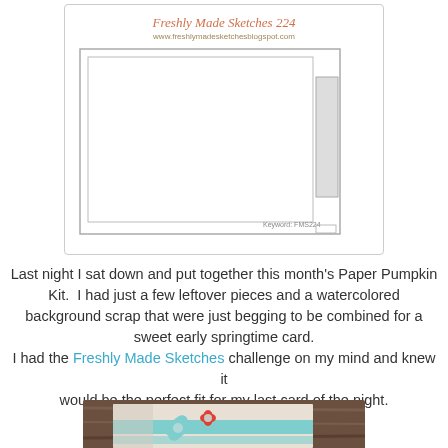[Figure (illustration): Freshly Made Sketches 224 card layout sketch diagram showing a rectangular card outline with a smaller rectangle on the right side, keyword FMS224 at bottom right]
Last night I sat down and put together this month's Paper Pumpkin Kit.  I had just a few leftover pieces and a watercolored background scrap that were just begging to be combined for a sweet early springtime card.
I had the Freshly Made Sketches challenge on my mind and knew it
would be the perfect fit for my last card of the night.
[Figure (photo): Photo of a handmade card with teal/mint flower and red flower on a striped background, placed on a wooden surface]